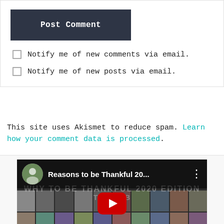[Figure (screenshot): Post Comment button (dark navy background, white text)]
Notify me of new comments via email.
Notify me of new posts via email.
This site uses Akismet to reduce spam. Learn how your comment data is processed.
[Figure (screenshot): YouTube video embed showing 'Reasons to be Thankful 20...' with WHY TO BE THANKFUL 2020 EDITION text overlay, YouTube play button, thumbnail grid, and playback controls showing 00:00 / 14:50]